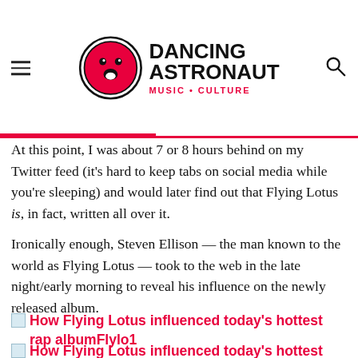Dancing Astronaut — Music • Culture
At this point, I was about 7 or 8 hours behind on my Twitter feed (it’s hard to keep tabs on social media while you’re sleeping) and would later find out that Flying Lotus is, in fact, written all over it.
Ironically enough, Steven Ellison — the man known to the world as Flying Lotus — took to the web in the late night/early morning to reveal his influence on the newly released album.
How Flying Lotus influenced today’s hottest rap albumFlylo1
How Flying Lotus influenced today’s hottest rap